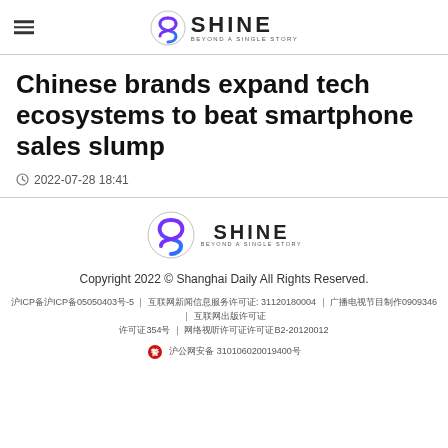SHINE BEYOND A SINGLE STORY
Chinese brands expand tech ecosystems to beat smartphone sales slump
2022-07-28 18:41
[Figure (logo): SHINE BEYOND A SINGLE STORY logo]
Copyright 2022 © Shanghai Daily All Rights Reserved. ICP备ICP备05050403号-5 | 互联网新闻信息服务: 31120180004 | 广播电视节目0909346 | 互联网出版许可证354号 | 网络视听许可证B2-20120012 沪公网安备 310106020019400号